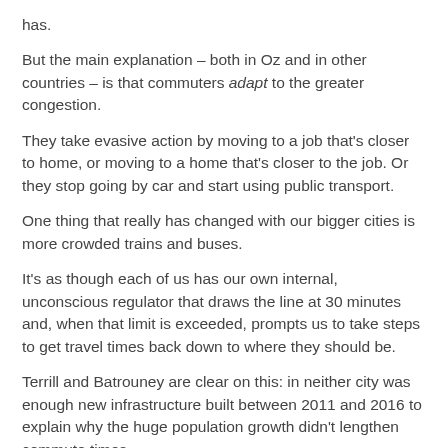has.
But the main explanation – both in Oz and in other countries – is that commuters adapt to the greater congestion.
They take evasive action by moving to a job that's closer to home, or moving to a home that's closer to the job. Or they stop going by car and start using public transport.
One thing that really has changed with our bigger cities is more crowded trains and buses.
It's as though each of us has our own internal, unconscious regulator that draws the line at 30 minutes and, when that limit is exceeded, prompts us to take steps to get travel times back down to where they should be.
Terrill and Batrouney are clear on this: in neither city was enough new infrastructure built between 2011 and 2016 to explain why the huge population growth didn't lengthen commute times.